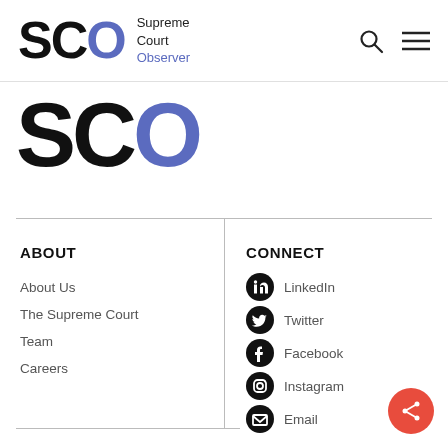SCO Supreme Court Observer
[Figure (logo): Large SCO logo with blue O letter]
ABOUT
About Us
The Supreme Court
Team
Careers
CONNECT
LinkedIn
Twitter
Facebook
Instagram
Email